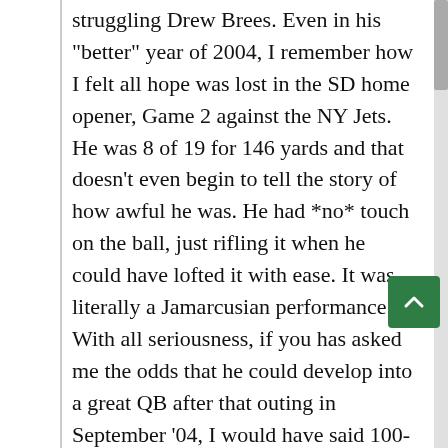struggling Drew Brees. Even in his "better" year of 2004, I remember how I felt all hope was lost in the SD home opener, Game 2 against the NY Jets. He was 8 of 19 for 146 yards and that doesn't even begin to tell the story of how awful he was. He had *no* touch on the ball, just rifling it when he could have lofted it with ease. It was literally a Jamarcusian performance. With all seriousness, if you has asked me the odds that he could develop into a great QB after that outing in September '04, I would have said 100-1 against. It seemed absolutely impossible that this person had any idea how to be a decent quarterback. Obviously, the Chargers agreed; that's why they drafted Rivers. Then, slowly surely, and steadily, Brees just got better and better; now, even though he's been playing for a different team than mine for four years, he's still a favorite here.